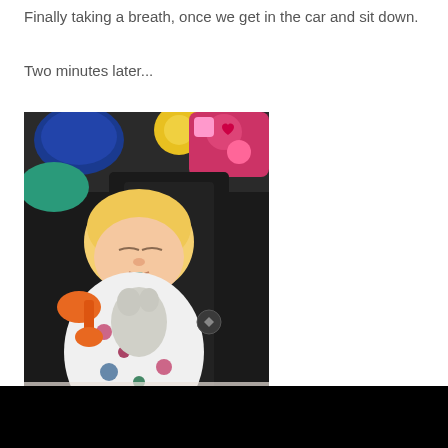Finally taking a breath, once we get in the car and sit down.
Two minutes later...
[Figure (photo): A baby or toddler sleeping in a car seat, holding a stuffed animal toy, with colorful car seat toy attachments visible above. The child is wearing a floral outfit.]